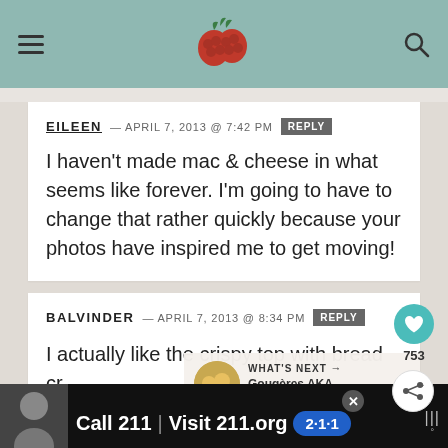Header bar with hamburger menu, raspberry logo, and search icon
EILEEN — APRIL 7, 2013 @ 7:42 PM  REPLY
I haven't made mac & cheese in what seems like forever. I'm going to have to change that rather quickly because your photos have inspired me to get moving!
BALVINDER — APRIL 7, 2013 @ 8:34 PM  REPLY
I actually like the crispy top with bread cr...
[Figure (infographic): WHAT'S NEXT arrow with thumbnail of gougeres and text: Gougères AKA French...]
[Figure (infographic): Advertisement bar: person photo, Call 211 | Visit 211.org with 2-1-1 badge]